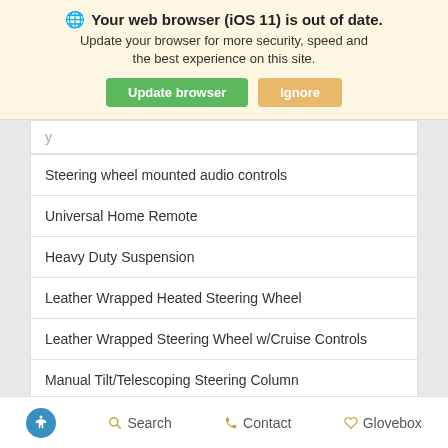[Figure (screenshot): Browser update notification banner with globe icon, bold warning text 'Your web browser (iOS 11) is out of date.', subtitle text, and two buttons: 'Update browser' (green) and 'Ignore' (tan/orange).]
| Steering wheel mounted audio controls |
| Universal Home Remote |
| Heavy Duty Suspension |
| Leather Wrapped Heated Steering Wheel |
| Leather Wrapped Steering Wheel w/Cruise Controls |
| Manual Tilt/Telescoping Steering Column |
♿ Search  Contact  Glovebox